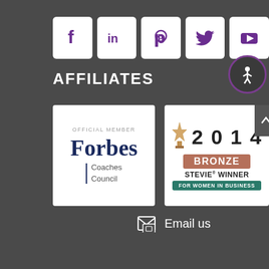[Figure (other): Row of 5 social media icons on white rounded square backgrounds: Facebook (f), LinkedIn (in), Pinterest (p), Twitter bird, YouTube play button triangle. Icons are purple on white.]
AFFILIATES
[Figure (other): Forbes Coaches Council official member badge. White card with 'OFFICIAL MEMBER' in small caps, 'Forbes' in large dark blue serif font, vertical blue line, 'Coaches Council' text.]
[Figure (other): 2014 Bronze Stevie Winner for Women in Business badge. White card with trophy icon, '2014' in large bold text, 'BRONZE' on brown/copper banner, 'STEVIE WINNER' text, 'FOR WOMEN IN BUSINESS' on teal green banner.]
[Figure (other): Accessibility icon button - circular button with purple border showing wheelchair accessibility symbol in white on dark background.]
Email us